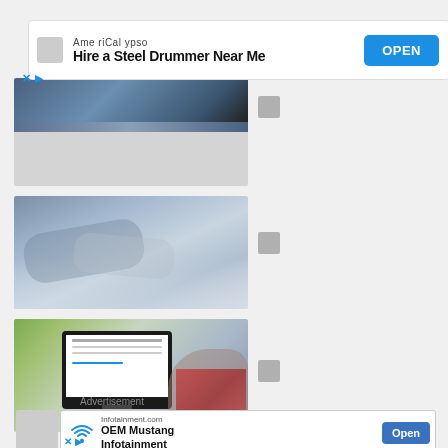[Figure (infographic): Top advertisement banner: AmeriCalypso - Hire a Steel Drummer Near Me, with OPEN button]
[Figure (photo): Business meeting photo - people sitting at table, upper portion visible, lower portion gray placeholder]
[Figure (photo): Business handshake photo - two people shaking hands with documents on table]
[Figure (photo): Person looking at computer monitor displaying a form/document interface, green background visible]
Advertisement
[Figure (infographic): Bottom advertisement banner (partial): Infotainment.com - OEM Mustang Infotainment, with Open button]